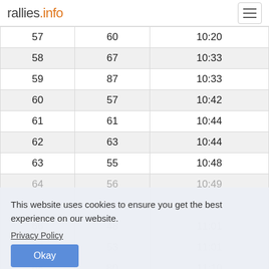rallies.info
| 57 | 60 | 10:20 |
| 58 | 67 | 10:33 |
| 59 | 87 | 10:33 |
| 60 | 57 | 10:42 |
| 61 | 61 | 10:44 |
| 62 | 63 | 10:44 |
| 63 | 55 | 10:48 |
| 64 | 56 | 10:49 |
| 65 | 65 | 10:58 |
| 66 | 48 | 11:01 |
| 67 | 53 | 11:01 |
| 68 | 80 | 11:10 |
| 69 | 76 | 11:15 |
| 70 | 81 | 11:20 |
| 71 | 64 | 11:24 |
This website uses cookies to ensure you get the best experience on our website.
Privacy Policy
Okay